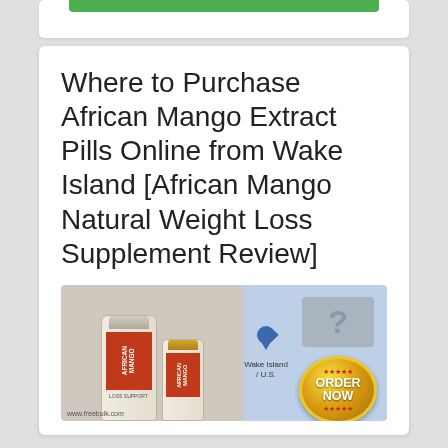Where to Purchase African Mango Extract Pills Online from Wake Island [African Mango Natural Weight Loss Supplement Review]
[Figure (photo): Product image showing African Mango supplement bottles on the left, a map with Wake Island location pin in the center, a question mark box, and an ORDER NOW button on the right, all on a light blue background.]